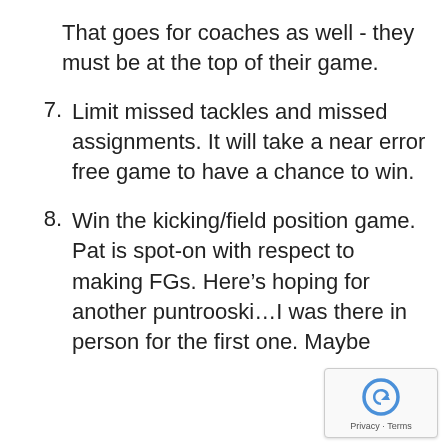That goes for coaches as well - they must be at the top of their game.
7. Limit missed tackles and missed assignments. It will take a near error free game to have a chance to win.
8. Win the kicking/field position game. Pat is spot-on with respect to making FGs. Here’s hoping for another puntrooski…I was there in person for the first one. Maybe